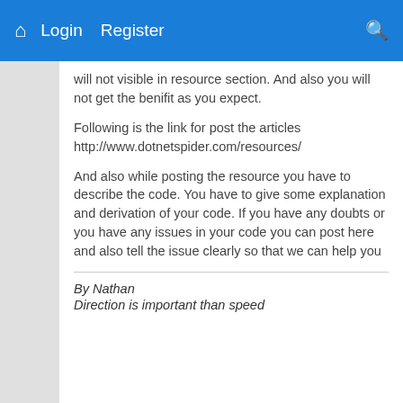Login  Register
will not visible in resource section. And also you will not get the benifit as you expect.
Following is the link for post the articles http://www.dotnetspider.com/resources/
And also while posting the resource you have to describe the code. You have to give some explanation and derivation of your code. If you have any doubts or you have any issues in your code you can post here and also tell the issue clearly so that we can help you
By Nathan
Direction is important than speed